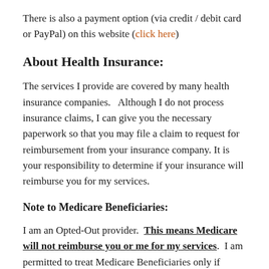There is also a payment option (via credit / debit card or PayPal) on this website (click here)
About Health Insurance:
The services I provide are covered by many health insurance companies.  Although I do not process insurance claims, I can give you the necessary paperwork so that you may file a claim to request for reimbursement from your insurance company. It is your responsibility to determine if your insurance will reimburse you for my services.
Note to Medicare Beneficiaries:
I am an Opted-Out provider.  This means Medicare will not reimburse you or me for my services.  I am permitted to treat Medicare Beneficiaries only if